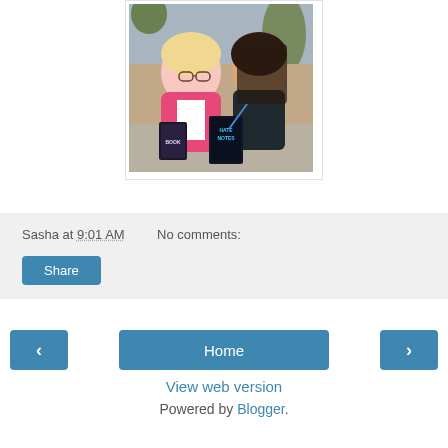[Figure (photo): Two women smiling at a table signing books. The woman on the left wears a pink cardigan and holds a dark-covered book; the woman on the right wears a black tank top and signs a book titled 'Hate Notes'. Photo has a white border/shadow frame.]
Sasha at 9:01 AM    No comments:
Share
‹
Home
›
View web version
Powered by Blogger.